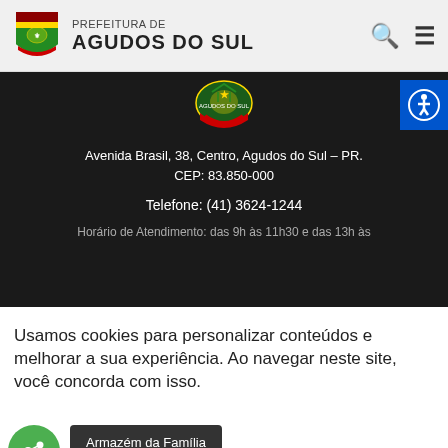Prefeitura de Agudos do Sul
Avenida Brasil, 38, Centro, Agudos do Sul – PR.
CEP: 83.850-000

Telefone: (41) 3624-1244

Horário de Atendimento: das 9h às 11h30 e das 13h às
Usamos cookies para personalizar conteúdos e melhorar a sua experiência. Ao navegar neste site, você concorda com isso.
Armazém da Família
Aceitar e Fechar